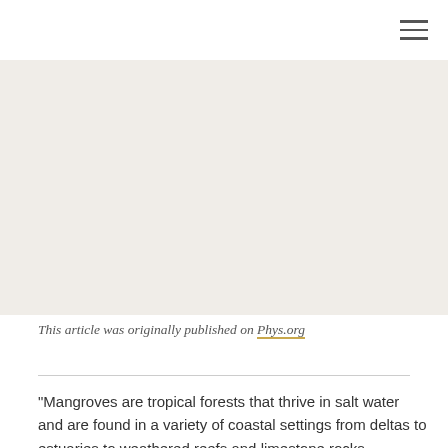[Figure (photo): Large image area placeholder with light beige/tan background, likely a photo of mangroves or coastal environment]
This article was originally published on Phys.org
"Mangroves are tropical forests that thrive in salt water and are found in a variety of coastal settings from deltas to estuaries to weathered reefs and limestone rocks worldwide. Mangroves can store greater amounts of carbon than any other terrestrial ecosystem, which helps